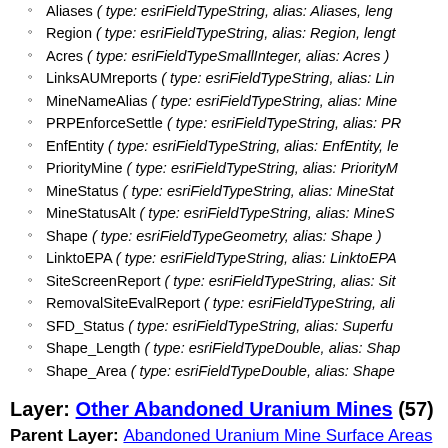Aliases ( type: esriFieldTypeString, alias: Aliases, leng…
Region ( type: esriFieldTypeString, alias: Region, lengt…
Acres ( type: esriFieldTypeSmallInteger, alias: Acres )
LinksAUMreports ( type: esriFieldTypeString, alias: Lin…
MineNameAlias ( type: esriFieldTypeString, alias: Mine…
PRPEnforceSettle ( type: esriFieldTypeString, alias: PR…
EnfEntity ( type: esriFieldTypeString, alias: EnfEntity, le…
PriorityMine ( type: esriFieldTypeString, alias: PriorityM…
MineStatus ( type: esriFieldTypeString, alias: MineStat…
MineStatusAlt ( type: esriFieldTypeString, alias: MineS…
Shape ( type: esriFieldTypeGeometry, alias: Shape )
LinktoEPA ( type: esriFieldTypeString, alias: LinktoEPA…
SiteScreenReport ( type: esriFieldTypeString, alias: Sit…
RemovalSiteEvalReport ( type: esriFieldTypeString, ali…
SFD_Status ( type: esriFieldTypeString, alias: Superfu…
Shape_Length ( type: esriFieldTypeDouble, alias: Shap…
Shape_Area ( type: esriFieldTypeDouble, alias: Shape…
Layer: Other Abandoned Uranium Mines (57)
Parent Layer: Abandoned Uranium Mine Surface Areas
Name: Other Abandoned Uranium Mines
Display Field: Mine_Name